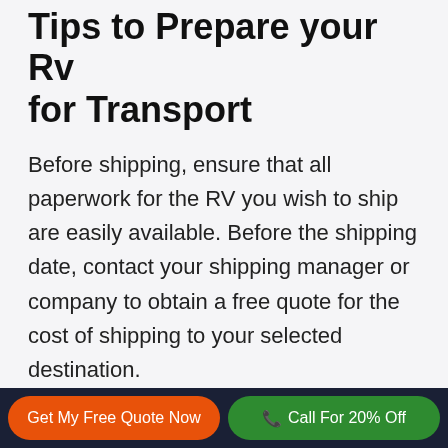Tips to Prepare your Rv for Transport
Before shipping, ensure that all paperwork for the RV you wish to ship are easily available. Before the shipping date, contact your shipping manager or company to obtain a free quote for the cost of shipping to your selected destination.
Contact Us
Now you are a little more aware of what goes into an RV shipping project. Next, you can contact us
Get My Free Quote Now | Call For 20% Off